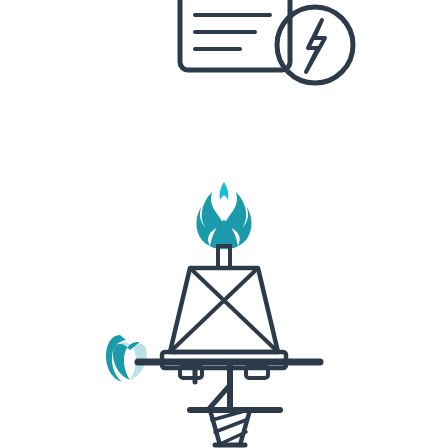[Figure (illustration): Line art icon of an electric meter or gauge with a lightning bolt symbol in a circle, drawn in dark gray outline style. Partially visible at top of page.]
[Figure (illustration): Line art icon of an oil/gas flare tower (derrick) with a teal/blue flame on top and an X-brace pattern in the body, drawn in dark gray outline with teal flame.]
[Figure (illustration): Line art icon of an oil pump jack (nodding donkey) with a teal crescent-shaped counterweight, drawn in dark gray outline style with teal accent.]